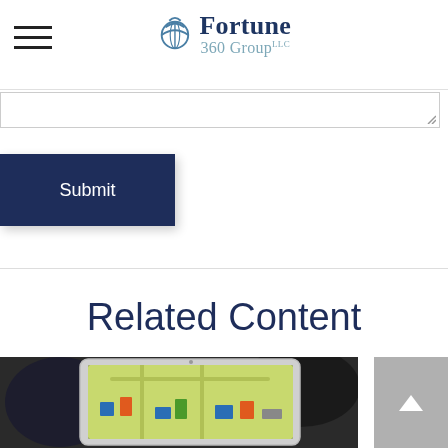Fortune 360 Group LLC
[Figure (screenshot): Text input field with resize handle indicator in bottom right corner]
[Figure (other): Submit button - dark navy blue rectangular button with white text 'Submit']
Related Content
[Figure (photo): Photograph of a tablet/iPad displaying a map application with colorful icons, on a dark background]